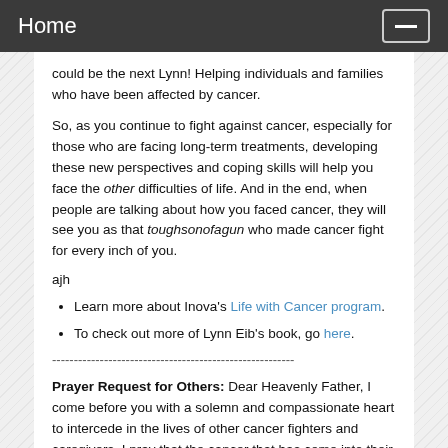Home
could be the next Lynn! Helping individuals and families who have been affected by cancer.
So, as you continue to fight against cancer, especially for those who are facing long-term treatments, developing these new perspectives and coping skills will help you face the other difficulties of life. And in the end, when people are talking about how you faced cancer, they will see you as that toughsonofagun who made cancer fight for every inch of you.
ajh
Learn more about Inova's Life with Cancer program.
To check out more of Lynn Eib's book, go here.
--------------------------------------------------------
Prayer Request for Others: Dear Heavenly Father, I come before you with a solemn and compassionate heart to intercede in the lives of other cancer fighters and caregivers. I pray that the cancer that has come into their